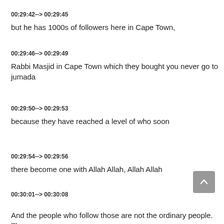00:29:42--> 00:29:45
but he has 1000s of followers here in Cape Town,
00:29:46--> 00:29:49
Rabbi Masjid in Cape Town which they bought you never go to jumada
00:29:50--> 00:29:53
because they have reached a level of who soon
00:29:54--> 00:29:56
there become one with Allah Allah, Allah Allah
00:30:01--> 00:30:08
And the people who follow those are not the ordinary people. These